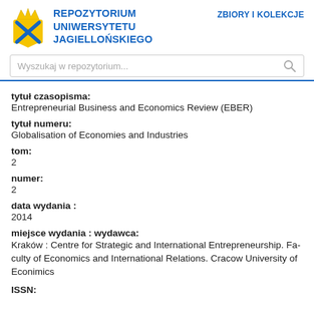REPOZYTORIUM UNIWERSYTETU JAGIELLOŃSKIEGO
ZBIORY I KOLEKCJE
Wyszukaj w repozytorium...
tytuł czasopisma:
Entrepreneurial Business and Economics Review (EBER)
tytuł numeru:
Globalisation of Economies and Industries
tom:
2
numer:
2
data wydania :
2014
miejsce wydania : wydawca:
Kraków : Centre for Strategic and International Entrepreneurship. Faculty of Economics and International Relations. Cracow University of Econimics
ISSN: